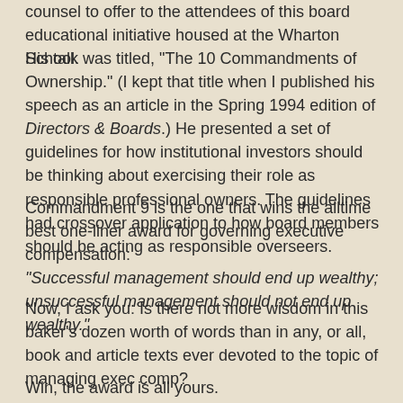counsel to offer to the attendees of this board educational initiative housed at the Wharton School.
His talk was titled, "The 10 Commandments of Ownership." (I kept that title when I published his speech as an article in the Spring 1994 edition of Directors & Boards.) He presented a set of guidelines for how institutional investors should be thinking about exercising their role as responsible professional owners. The guidelines had crossover application to how board members should be acting as responsible overseers.
Commandment 9 is the one that wins the alltime best one-liner award for governing executive compensation: "Successful management should end up wealthy; unsuccessful management should not end up wealthy."
Now, I ask you: Is there not more wisdom in this baker's dozen worth of words than in any, or all, book and article texts ever devoted to the topic of managing exec comp?
Win, the award is all yours.